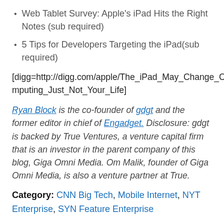Web Tablet Survey: Apple's iPad Hits the Right Notes (sub required)
5 Tips for Developers Targeting the iPad(sub required)
[digg=http://digg.com/apple/The_iPad_May_Change_Computing_Just_Not_Your_Life]
Ryan Block is the co-founder of gdgt and the former editor in chief of Engadget. Disclosure: gdgt is backed by True Ventures, a venture capital firm that is an investor in the parent company of this blog, Giga Omni Media. Om Malik, founder of Giga Omni Media, is also a venture partner at True.
Category: CNN Big Tech, Mobile Internet, NYT Enterprise, SYN Feature Enterprise